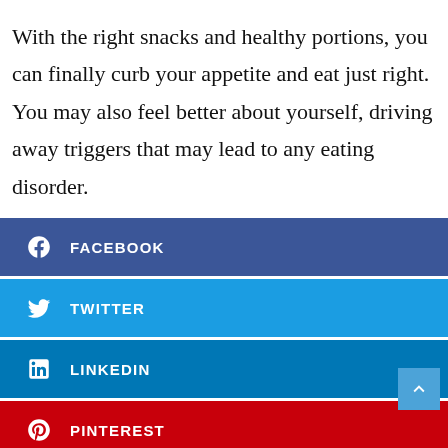With the right snacks and healthy portions, you can finally curb your appetite and eat just right. You may also feel better about yourself, driving away triggers that may lead to any eating disorder.
FACEBOOK
TWITTER
LINKEDIN
PINTEREST
REDDIT